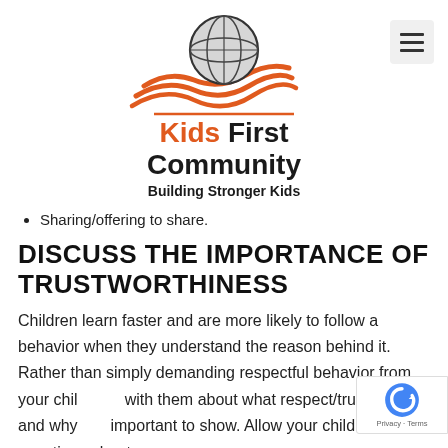[Figure (logo): Kids First Community logo with globe and open book graphic, orange wave lines, text reads 'Kids First Community - Building Stronger Kids']
Sharing/offering to share.
DISCUSS THE IMPORTANCE OF TRUSTWORTHINESS
Children learn faster and are more likely to follow a behavior when they understand the reason behind it. Rather than simply demanding respectful behavior from your child, talk with them about what respect/trust means and why it is important to show. Allow your child to ask questions about